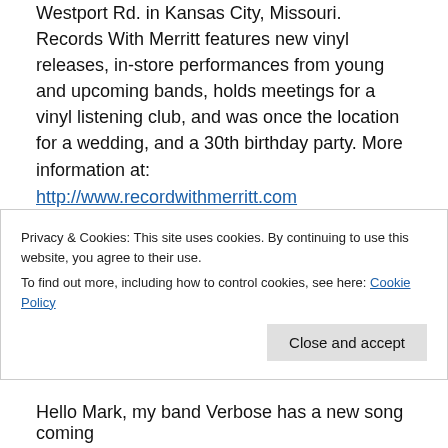Westport Rd. in Kansas City, Missouri. Records With Merritt features new vinyl releases, in-store performances from young and upcoming bands, holds meetings for a vinyl listening club, and was once the location for a wedding, and a 30th birthday party. More information at: http://www.recordwithmerritt.com
Marion Merritt, Thanks for being with us on Wednesday MidDay Medley
10:12
2. Verbose – “Flash Bang, Johnny”
Privacy & Cookies: This site uses cookies. By continuing to use this website, you agree to their use. To find out more, including how to control cookies, see here: Cookie Policy
Close and accept
Hello Mark, my band Verbose has a new song coming